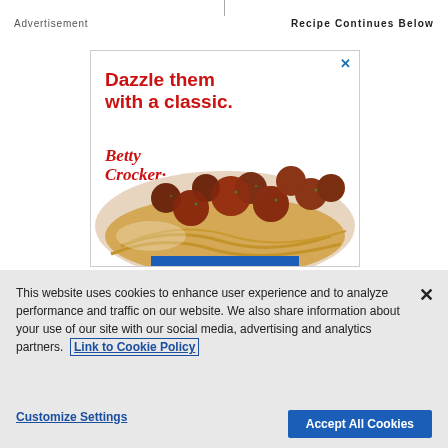Advertisement | Recipe Continues Below
[Figure (screenshot): Betty Crocker advertisement showing 'Dazzle them with a classic.' text in red with Betty Crocker logo and a photo of spaghetti and meatballs dish]
This website uses cookies to enhance user experience and to analyze performance and traffic on our website. We also share information about your use of our site with our social media, advertising and analytics partners. Link to Cookie Policy
Customize Settings | Accept All Cookies